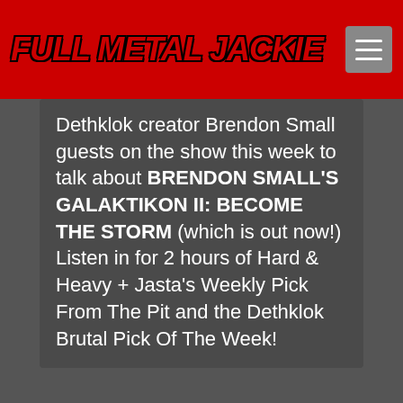Full Metal Jackie
Dethklok creator Brendon Small guests on the show this week to talk about BRENDON SMALL'S GALAKTIKON II: BECOME THE STORM (which is out now!) Listen in for 2 hours of Hard & Heavy + Jasta's Weekly Pick From The Pit and the Dethklok Brutal Pick Of The Week!
[Figure (photo): Dark gray placeholder image area below the text card]